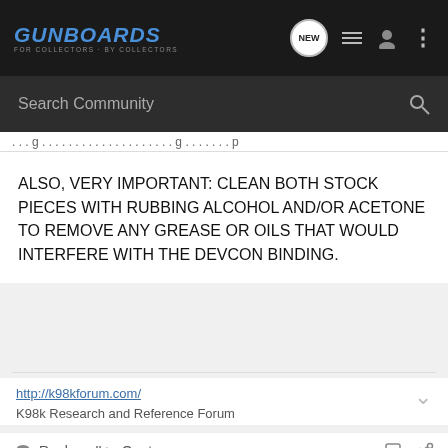GUNBOARDS - FOR COLLECTORS · BY COLLECTORS
Search Community
ALSO, VERY IMPORTANT: CLEAN BOTH STOCK PIECES WITH RUBBING ALCOHOL AND/OR ACETONE TO REMOVE ANY GREASE OR OILS THAT WOULD INTERFERE WITH THE DEVCON BINDING.
http://k98kforum.com/ K98k Research and Reference Forum
Reply  Quote
[Figure (screenshot): Bass Pro Shops advertisement: HIGHEST-RATED GEAR, rating 4.9 stars]